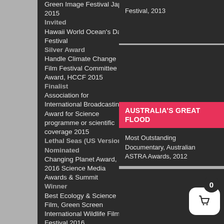Green Image Festival Japan 2015
Invited
Hawaii World Ocean's Day Festival
Silver Award
Handle Climate Change Film Festival Committee Award, HCCF 2015
Finalist
Association for International Broadcasting Award for Science programme or scientific coverage 2015
Lethal Seas (US Version), Nominated
Changing Planet Award, 2016 Science Media Awards & Summit
Winner
Best Ecology & Science Film, Green Screen International Wildlife Film Festival 2016
Finalist
Environment Award, 2016
Festival, 2013
AUSTRALIA'S GREAT FLOOD
Most Outstanding Documentary, Australian ASTRA Awards, 2012